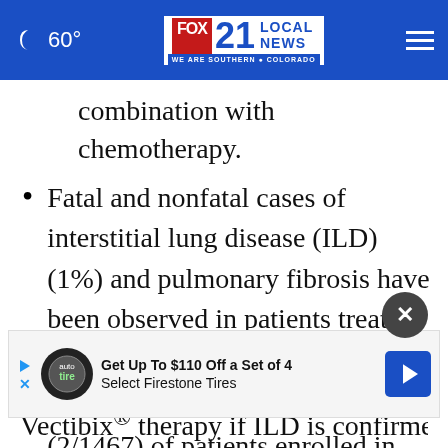60° FOX 21 LOCAL NEWS WE ARE SOUTHERN COLORADO
combination with chemotherapy.
Fatal and nonfatal cases of interstitial lung disease (ILD) (1%) and pulmonary fibrosis have been observed in patients treated with Vectibix®. Pulmonary fibrosis occurred in less than 1% (2/1467) of patients enrolled in clinical studies of Vectibix®. In the event of acute onset or worsening of pulmonary symptoms interrupt
Vectibix® therapy if ILD is confirmed